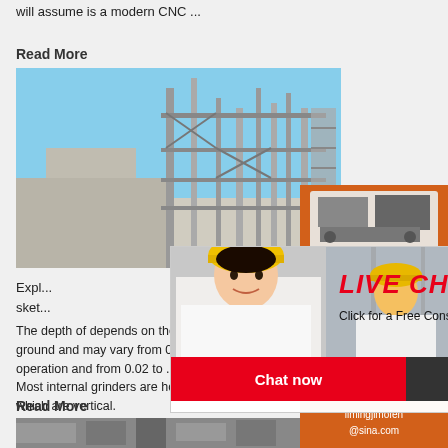will assume is a modern CNC ...
Read More
[Figure (photo): Industrial facility with steel pipes, scaffolding and blue sky background]
Expl... sket...
The depth of depends on the diameter of the ground and may vary from 0.02 to 0.05 mm in operation and from 0.02 to .01m in finishing o... Most internal grinders are horizontal except a which are vertical.
Read More
[Figure (photo): Industrial machinery photo at bottom]
[Figure (screenshot): Live Chat overlay with person in hard hat, LIVE CHAT heading, Click for a Free Consultation, Chat now and Chat later buttons]
[Figure (infographic): Right sidebar with orange background, machinery images, Enjoy 3% discount, Click to Chat, Enquiry, limingjlmofen@sina.com]